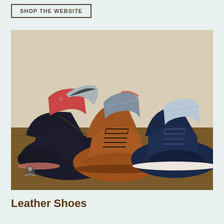SHOP THE WEBSITE
[Figure (photo): Three leather shoes arranged on a wooden surface — a black lace-up boot on the left, a tan/brown brogue wingtip boot in the center, and a navy blue cap-toe casual boot on the right. Each shoe has a colorful sock or textile tucked into the top. The center shoe features decorative broguing and brown laces.]
Leather Shoes